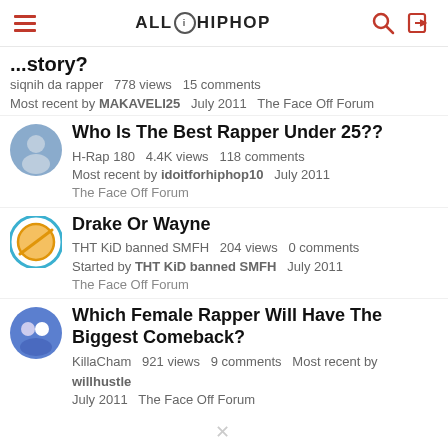ALLHIPHOP
...story?   siqnih da rapper   778 views   15 comments   Most recent by MAKAVELI25   July 2011   The Face Off Forum
Who Is The Best Rapper Under 25??
H-Rap 180   4.4K views   118 comments   Most recent by idoitforhiphop10   July 2011   The Face Off Forum
Drake Or Wayne
THT KiD banned SMFH   204 views   0 comments   Started by THT KiD banned SMFH   July 2011   The Face Off Forum
Which Female Rapper Will Have The Biggest Comeback?
KillaCham   921 views   9 comments   Most recent by willhustle   July 2011   The Face Off Forum